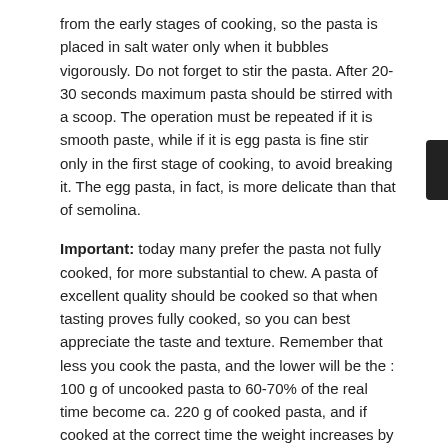from the early stages of cooking, so the pasta is placed in salt water only when it bubbles vigorously. Do not forget to stir the pasta. After 20-30 seconds maximum pasta should be stirred with a scoop. The operation must be repeated if it is smooth paste, while if it is egg pasta is fine stir only in the first stage of cooking, to avoid breaking it. The egg pasta, in fact, is more delicate than that of semolina.
Important: today many prefer the pasta not fully cooked, for more substantial to chew. A pasta of excellent quality should be cooked so that when tasting proves fully cooked, so you can best appreciate the taste and texture. Remember that less you cook the pasta, and the lower will be the : 100 g of uncooked pasta to 60-70% of the real time become ca. 220 g of cooked pasta, and if cooked at the correct time the weight increases by a further 10-15%.
Filed Under: My Diary
Tags: cooking Pasta, Pasta, pasta and noodles, Salt